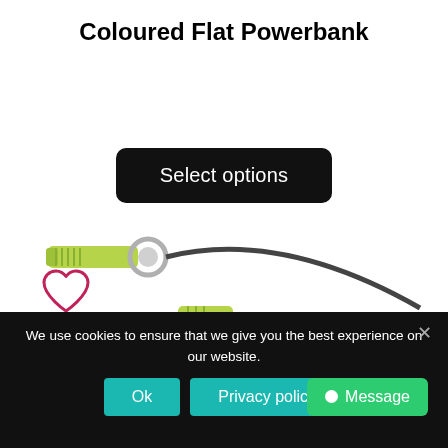Coloured Flat Powerbank
Select options
[Figure (illustration): Heart icon (outline) in dark pink/crimson color]
[Figure (photo): Product photo showing a green USB cable/connector with metal ring attachment against white background]
We use cookies to ensure that we give you the best experience on our website.
Ok
Privacy policy
Message